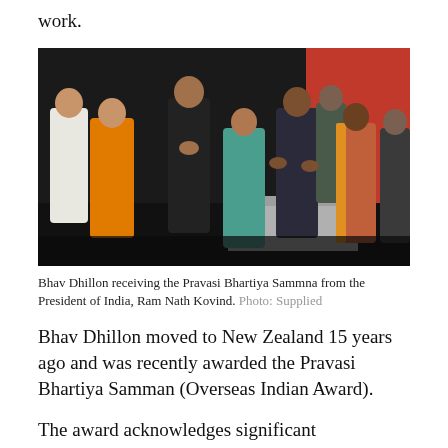work.
[Figure (photo): Group of people on a stage at a formal ceremony. A man in a black suit performs a namaste greeting while receiving an award. Others on stage include a person in orange robes, a woman in a teal sari, a man in a dark suit (Ram Nath Kovind), a woman in a colorful sari, and others. Background has black and red panels.]
Bhav Dhillon receiving the Pravasi Bhartiya Sammna from the President of India, Ram Nath Kovind. Photo: Supplied
Bhav Dhillon moved to New Zealand 15 years ago and was recently awarded the Pravasi Bhartiya Samman (Overseas Indian Award).
The award acknowledges significant contributions